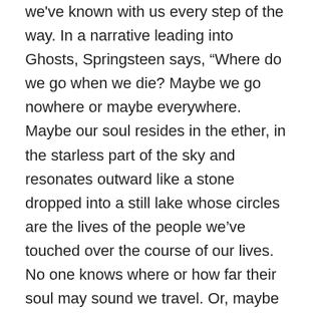we've known with us every step of the way. In a narrative leading into Ghosts, Springsteen says, “Where do we go when we die? Maybe we go nowhere or maybe everywhere. Maybe our soul resides in the ether, in the starless part of the sky and resonates outward like a stone dropped into a still lake whose circles are the lives of the people we’ve touched over the course of our lives. No one knows where or how far their soul may sound we travel. Or, maybe it’s all just bones, dirt, clay and turtles all the way down. I don’t know. But I’ve grieved at the thought of never seeing some of those that I’ve loved and lost again. But those passed never completely disappear. We see them on familiar streets, in empty clubs and late nights of long ago. They move in shadows, glimpsed only from the corner of our eyes. We see them in our dreams.”
As even casual fans of Springsteen’s work know, he is